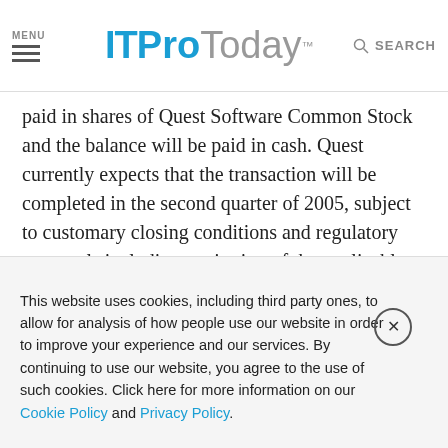MENU  ITProToday  SEARCH
paid in shares of Quest Software Common Stock and the balance will be paid in cash. Quest currently expects that the transaction will be completed in the second quarter of 2005, subject to customary closing conditions and regulatory approvals including expiration of the applicable Hart-Scott-Rodino waiting period, and that it is estimated to be neutral to fully diluted earnings per share within the first 12 months of closing, and accretive thereafter. “I am excited about the strengths Imceda brings to Quest in the Microsoft SQL Server market,” said Vinny Smith, chairman and CEO, Quest
This website uses cookies, including third party ones, to allow for analysis of how people use our website in order to improve your experience and our services. By continuing to use our website, you agree to the use of such cookies. Click here for more information on our Cookie Policy and Privacy Policy.